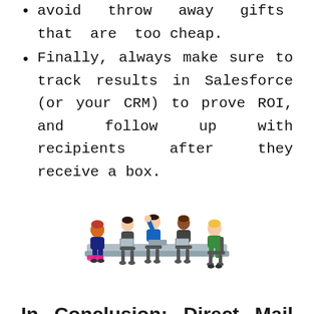Finally, always make sure to track results in Salesforce (or your CRM) to prove ROI, and follow up with recipients after they receive a box.
[Figure (illustration): Illustration of a group of people sitting around a conference table having a meeting, shown in a colorful cartoon/flat style.]
In Conclusion: Direct Mail Works for B2B!
Over and over we've seen Direct Mail campaigns exceed ROI expectations. Take